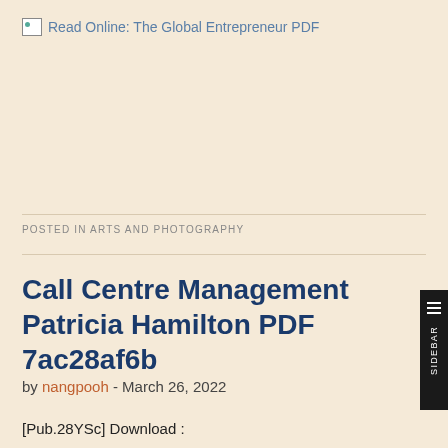Read Online: The Global Entrepreneur PDF
POSTED IN ARTS AND PHOTOGRAPHY
Call Centre Management Patricia Hamilton PDF 7ac28af6b
by nangpooh - March 26, 2022
[Pub.28YSc] Download :